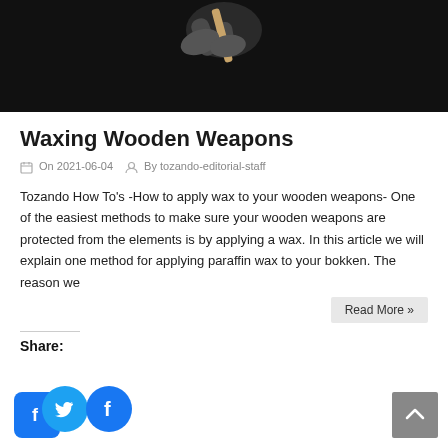[Figure (photo): Dark background photo of a person holding a wooden weapon (bokken), hands and weapon visible against black background]
Waxing Wooden Weapons
On 2021-06-04  By tozando-editorial-staff
Tozando How To's -How to apply wax to your wooden weapons- One of the easiest methods to make sure your wooden weapons are protected from the elements is by applying a wax. In this article we will explain one method for applying paraffin wax to your bokken. The reason we
Read More »
Share:
[Figure (logo): Social media icons: Facebook (square blue), Twitter (circle blue), Facebook (circle blue)]